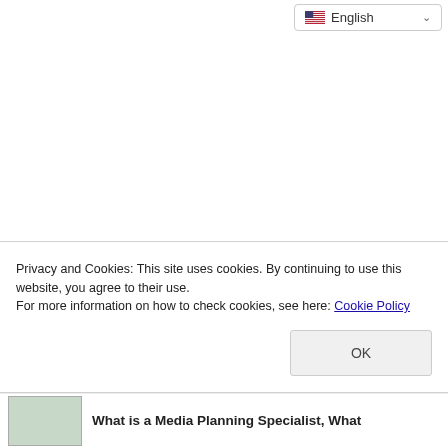English
Privacy and Cookies: This site uses cookies. By continuing to use this website, you agree to their use.
For more information on how to check cookies, see here: Cookie Policy
OK
What is a Media Planning Specialist, What